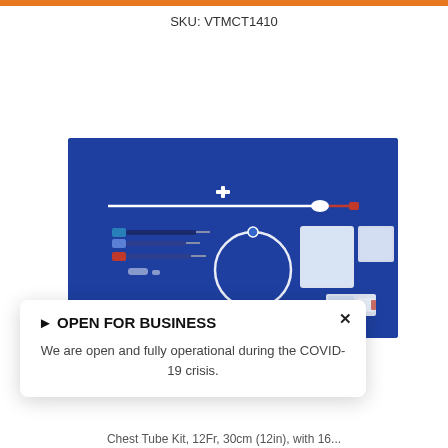SKU: VTMCT1410
[Figure (photo): Medical chest tube kit on blue background showing catheter, tubing, needles, syringes, and sterile packaging components. Labeled CT12FR16 KIT.]
▶ OPEN FOR BUSINESS
We are open and fully operational during the COVID-19 crisis.
Chest Tube Kit, 12Fr, 30cm (12in), with 16...